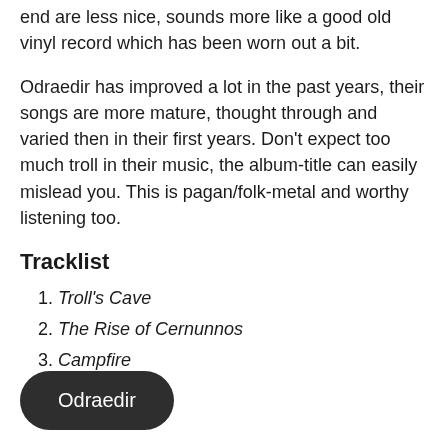end are less nice, sounds more like a good old vinyl record which has been worn out a bit.
Odraedir has improved a lot in the past years, their songs are more mature, thought through and varied then in their first years. Don't expect too much troll in their music, the album-title can easily mislead you. This is pagan/folk-metal and worthy listening too.
Tracklist
1. Troll's Cave
2. The Rise of Cernunnos
3. Campfire
Odraedir